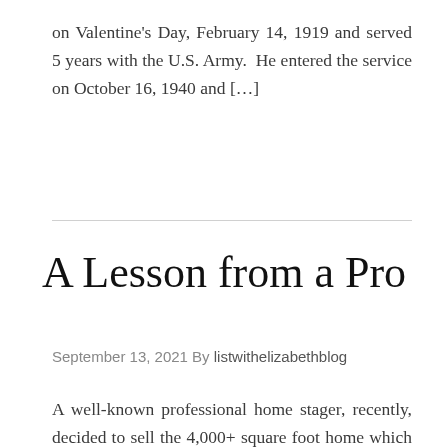on Valentine's Day, February 14, 1919 and served 5 years with the U.S. Army.  He entered the service on October 16, 1940 and […]
A Lesson from a Pro
September 13, 2021 By listwithelizabethblog
A well-known professional home stager, recently, decided to sell the 4,000+ square foot home which she lived in with her